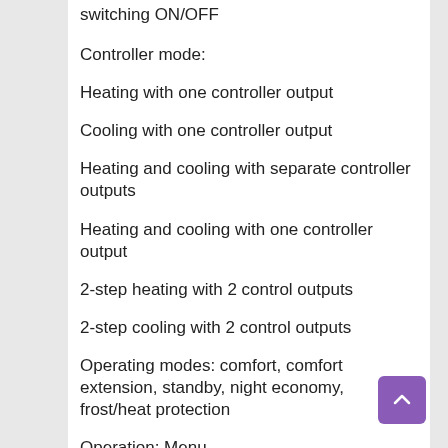switching ON/OFF
Controller mode:
Heating with one controller output
Cooling with one controller output
Heating and cooling with separate controller outputs
Heating and cooling with one controller output
2-step heating with 2 control outputs
2-step cooling with 2 control outputs
Operating modes: comfort, comfort extension, standby, night economy, frost/heat protection
Operation: Menu
Accessories: (partially cut off)